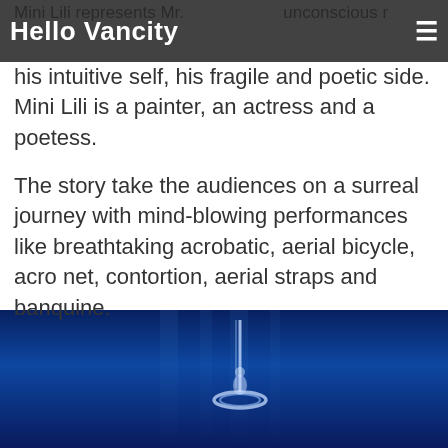Hello Vancity
his intuitive self, his fragile and poetic side. Mini Lili is a painter, an actress and a poetess.
The story take the audiences on a surreal journey with mind-blowing performances like breathtaking acrobatic, aerial bicycle, acro net, contortion, aerial straps and banquine.
[Figure (photo): A performer on stage against a deep blue background, aerial performance art]